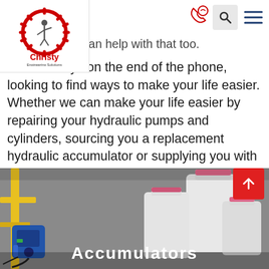Christy Engineering Solutions – navigation bar with logo, phone, search, menu icons
…services, we can help with that too.
We're always on the end of the phone, looking to find ways to make your life easier. Whether we can make your life easier by repairing your hydraulic pumps and cylinders, sourcing you a replacement hydraulic accumulator or supplying you with petrochemical subsea hoses, when you need us, we're here.
[Figure (photo): Bottom section showing industrial equipment photo with yellow crane arm, blue motor/sensor device, and white plastic containers/bottles with pink caps, overlaid with 'Accumulators' text label]
Accumulators